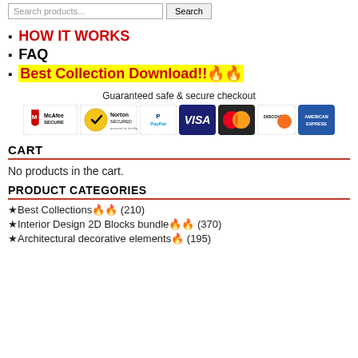Search products... Search
HOW IT WORKS
FAQ
Best Collection Download!!🔥🔥
[Figure (infographic): Guaranteed safe & secure checkout badges: McAfee Secure, Norton Secured powered by VeriSign, PayPal, VISA, Mastercard, Discover, American Express]
CART
No products in the cart.
PRODUCT CATEGORIES
★Best Collections🔥🔥 (210)
★Interior Design 2D Blocks bundle🔥🔥 (370)
★Architectural decorative elements🔥 (195)